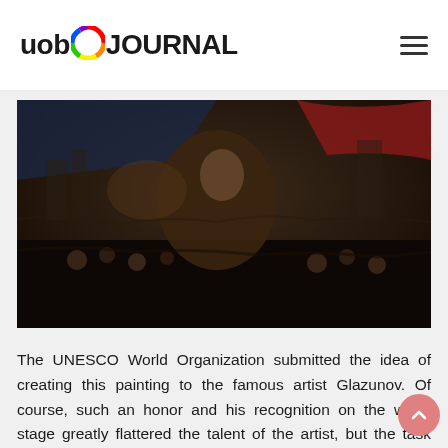uob JOURNAL
[Figure (illustration): A large panoramic painting depicting many figures and cultural scenes, dark toned with rich colors including red and blue, crowded with people and cultural motifs.]
The UNESCO World Organization submitted the idea of creating this painting to the famous artist Glazunov. Of course, such an honor and his recognition on the world stage greatly flattered the talent of the artist, but the task was not easy for him. How it would be possible to express in one picture all the brightest cultural values of the Russian people, which have been collected for centuries and bit by bit, and moreover, each of them deserves a separate canvas, which